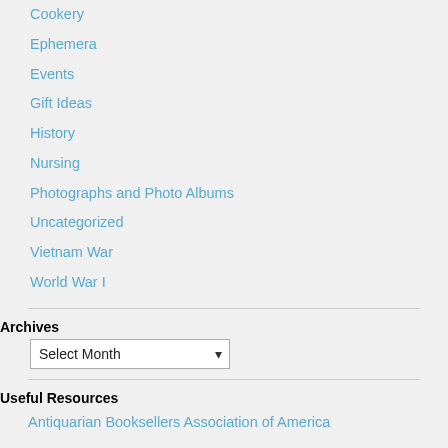Cookery
Ephemera
Events
Gift Ideas
History
Nursing
Photographs and Photo Albums
Uncategorized
Vietnam War
World War I
Archives
Useful Resources
Antiquarian Booksellers Association of America
International League of Antiquarian Booksellers
Bibliographical Society of America
The Grolier Club